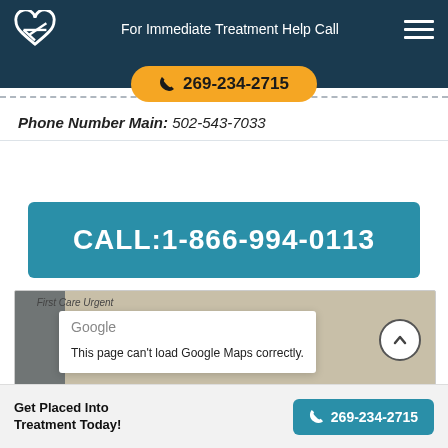For Immediate Treatment Help Call 269-234-2715
Phone Number Main: 502-543-7033
CALL:1-866-994-0113
[Figure (screenshot): Google Maps error overlay: 'This page can’t load Google Maps correctly.' with a white panel, Google logo, and up-arrow button over a map background.]
Get Placed Into Treatment Today! | 269-234-2715